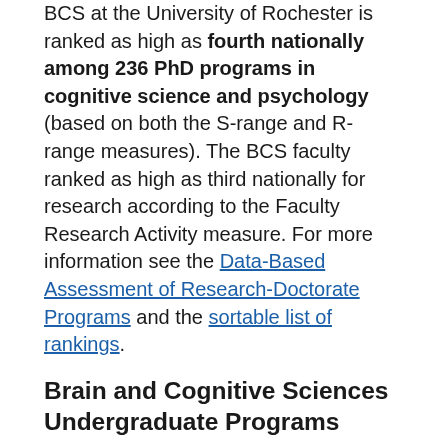BCS at the University of Rochester is ranked as high as fourth nationally among 236 PhD programs in cognitive science and psychology (based on both the S-range and R-range measures). The BCS faculty ranked as high as third nationally for research according to the Faculty Research Activity measure. For more information see the Data-Based Assessment of Research-Doctorate Programs and the sortable list of rankings.
Brain and Cognitive Sciences Undergraduate Programs
The department offers majors in brain and cognitive sciences, and neuroscience.
The BCS major offers a rigorous but accessible program for students interested in the brain and how it enables us to perceive, think, and learn. Both the bachelor of arts (BA) and bachelor of science